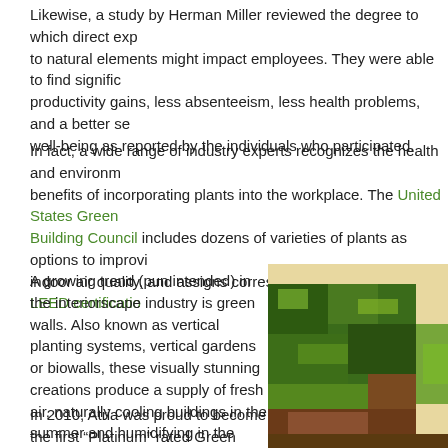Likewise, a study by Herman Miller reviewed the degree to which direct exposure to natural elements might impact employees. They were able to find significant productivity gains, less absenteeism, less health problems, and a better sense of well-being as reported by the individuals who participated.
In fact, a wide range of industry experts recognizes the health and environmental benefits of incorporating plants into the workplace. The United States Green Building Council includes dozens of varieties of plants as options to improve indoor air quality, and assigns corresponding points toward LEED certification.
A growing trend (pun intended) in the interiorscape industry is green walls. Also known as vertical planting systems, vertical gardens or biowalls, these visually stunning creations produce a supply of fresh air, naturally cooling buildings in the summer and humidifying in the winter.
[Figure (photo): Photo of a green wall / vertical garden installation with dense lush foliage in various shades of green and some reddish-brown leaves.]
In 2010, Atria was proud to become the first “Platinum” rated Green Earth—Green Plants® certified interior plantscape business. “The